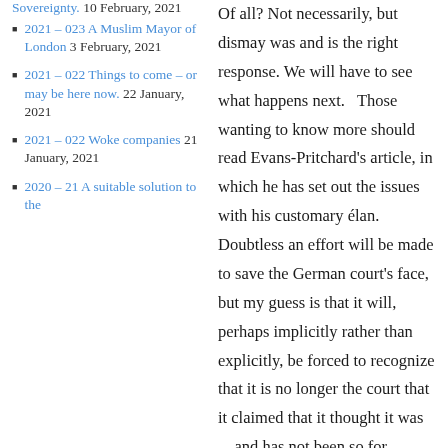Sovereignty. 10 February, 2021
2021 – 023 A Muslim Mayor of London 3 February, 2021
2021 – 022 Things to come – or may be here now. 22 January, 2021
2021 – 022 Woke companies 21 January, 2021
2020 – 21 A suitable solution to the
Of all? Not necessarily, but dismay was and is the right response. We will have to see what happens next.   Those wanting to know more should read Evans-Pritchard's article, in which he has set out the issues with his customary élan. Doubtless an effort will be made to save the German court's face, but my guess is that it will, perhaps implicitly rather than explicitly, be forced to recognize that it is no longer the court that it claimed that it thought it was—and has not been so for decades. And, if you want to understand why 'renegotiating' a new deal for Britain within the EU (as Mr Cameron says